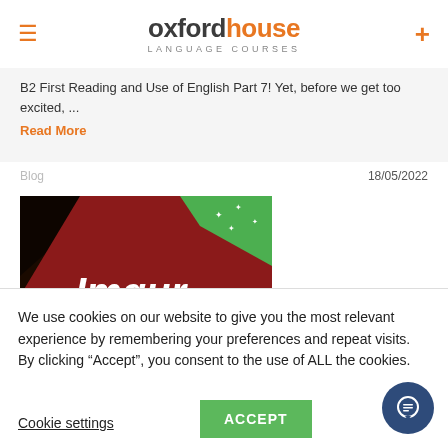oxford house LANGUAGE COURSES
B2 First Reading and Use of English Part 7! Yet, before we get too excited, ...
Read More
Blog   18/05/2022
[Figure (photo): Close-up photo of Imgur app icon on a smartphone screen with colorful background]
We use cookies on our website to give you the most relevant experience by remembering your preferences and repeat visits. By clicking “Accept”, you consent to the use of ALL the cookies.
Cookie settings
ACCEPT